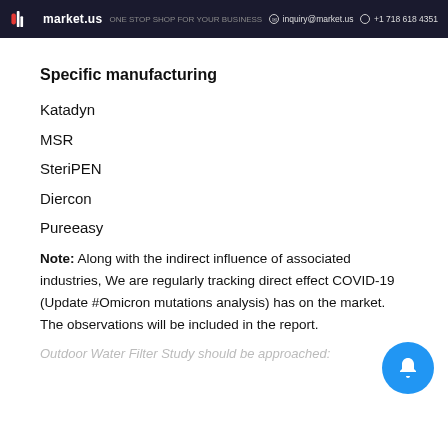market.us | inquiry@market.us | +1 718 618 4351
Specific manufacturing
Katadyn
MSR
SteriPEN
Diercon
Pureeasy
Note: Along with the indirect influence of associated industries, We are regularly tracking direct effect COVID-19 (Update #Omicron mutations analysis) has on the market. The observations will be included in the report.
Outdoor Water Filter Study should be approached: